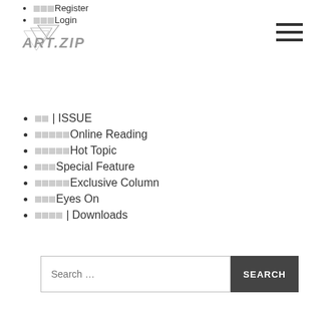□□□Register
□□□Login
[Figure (logo): ART.ZIP logo in diagonal geometric style with gray text]
[Figure (other): Hamburger menu icon with three horizontal lines]
□□ | ISSUE
□□□□□Online Reading
□□□□□Hot Topic
□□□Special Feature
□□□□□Exclusive Column
□□□Eyes On
□□□□ | Downloads
Search …